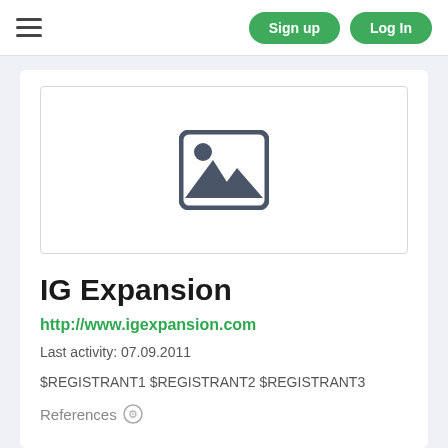Sign up  Log In
[Figure (illustration): Image placeholder icon showing a landscape picture symbol inside a rounded rectangle frame]
IG Expansion
http://www.igexpansion.com
Last activity: 07.09.2011
$REGISTRANT1 $REGISTRANT2 $REGISTRANT3
References